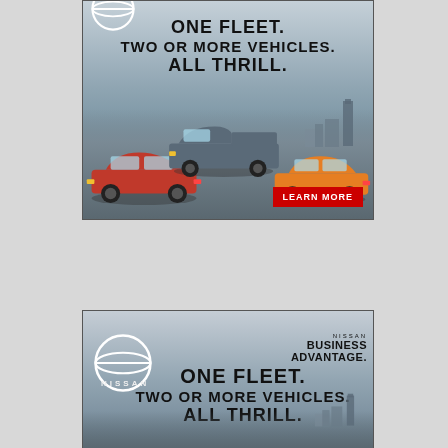[Figure (advertisement): Nissan Business Advantage advertisement showing three Nissan vehicles (red sedan, gray pickup truck, orange sedan) on a road with city skyline. Text reads 'ONE FLEET. TWO OR MORE VEHICLES. ALL THRILL.' with a red 'LEARN MORE' button.]
[Figure (advertisement): Nissan Business Advantage advertisement (partial view) showing Nissan logo, 'NISSAN BUSINESS ADVANTAGE' text in top right, and headline 'ONE FLEET. TWO OR MORE VEHICLES. ALL THRILL.' with city skyline and vehicles partially visible at bottom.]